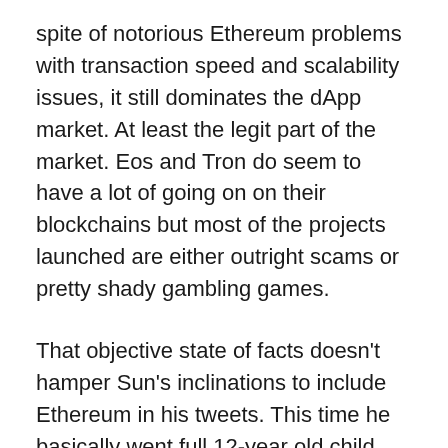spite of notorious Ethereum problems with transaction speed and scalability issues, it still dominates the dApp market. At least the legit part of the market. Eos and Tron do seem to have a lot of going on on their blockchains but most of the projects launched are either outright scams or pretty shady gambling games.
That objective state of facts doesn't hamper Sun's inclinations to include Ethereum in his tweets. This time he basically went full 12-year old child mode and compared his followers with Vitalik Buterin's; more precisely he wanted to point out Vitalik has more fake followers than him: